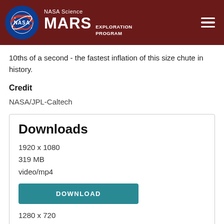NASA Science MARS EXPLORATION PROGRAM
10ths of a second - the fastest inflation of this size chute in history.
Credit
NASA/JPL-Caltech
Downloads
1920 x 1080
319 MB
video/mp4
DOWNLOAD
1280 x 720